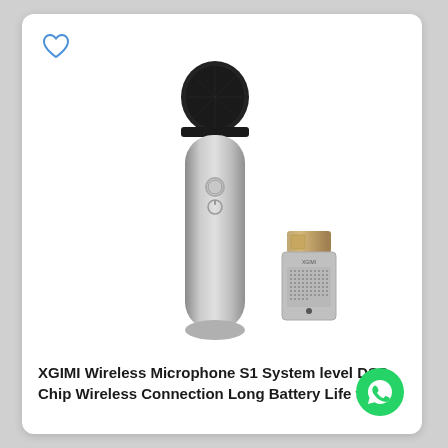[Figure (photo): XGIMI wireless microphone S1 in silver/grey color with black mesh head, and a small USB wireless receiver dongle with XGIMI branding, shown on white background]
XGIMI Wireless Microphone S1 System level DSP Chip Wireless Connection Long Battery Life for